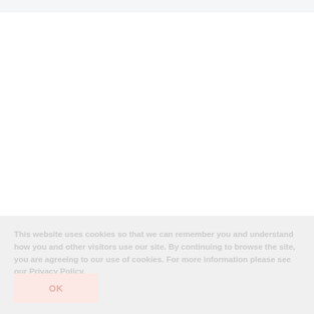This website uses cookies so that we can remember you and understand how you and other visitors use our site. By continuing to browse the site, you are agreeing to our use of cookies. For more information please see our Privacy Policy.
OK